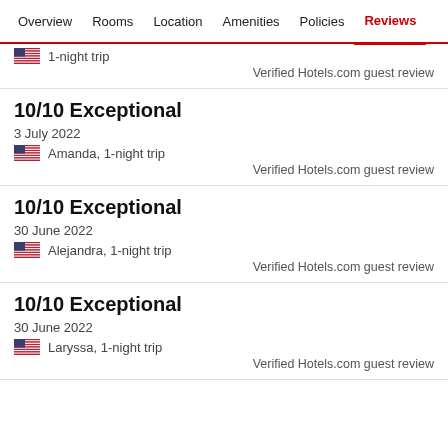Overview  Rooms  Location  Amenities  Policies  Reviews
🇺🇸 1-night trip
Verified Hotels.com guest review
10/10 Exceptional
3 July 2022
Amanda, 1-night trip
Verified Hotels.com guest review
10/10 Exceptional
30 June 2022
Alejandra, 1-night trip
Verified Hotels.com guest review
10/10 Exceptional
30 June 2022
Laryssa, 1-night trip
Verified Hotels.com guest review